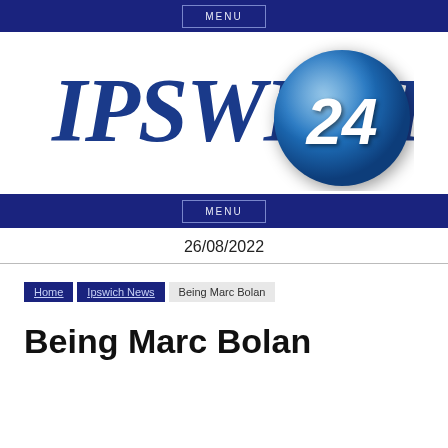MENU
[Figure (logo): Ipswich24 news website logo with stylized italic text 'IPSWICH' and a blue sphere badge showing '24']
MENU
26/08/2022
Home | Ipswich News | Being Marc Bolan
Being Marc Bolan